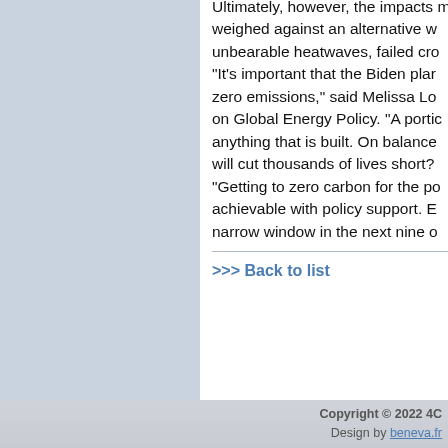Ultimately, however, the impacts must be weighed against an alternative world of unbearable heatwaves, failed cro...
“It’s important that the Biden plan reaches zero emissions,” said Melissa Lo... on Global Energy Policy. “A porti... anything that is built. On balance... will cut thousands of lives short?
“Getting to zero carbon for the po... achievable with policy support. E... narrow window in the next nine o...
>>> Back to list
Copyright © 2022 4C... Design by beneva.fr